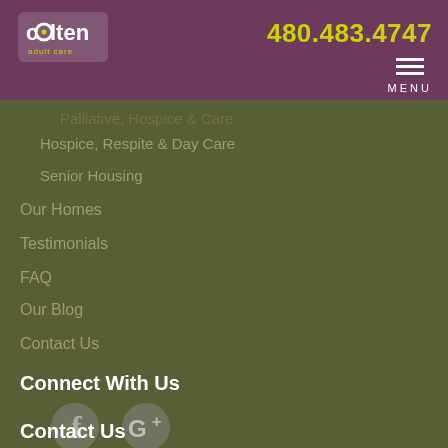[Figure (logo): Colten adult care logo with yellow-green dot on the 'o']
480.483.4747
MENU
Hospice, Respite & Day Care
Senior Housing
Our Homes
Testimonials
FAQ
Our Blog
Contact Us
Connect With Us
[Figure (illustration): Facebook 'f' icon and Google+ icon in gray]
Contact Us